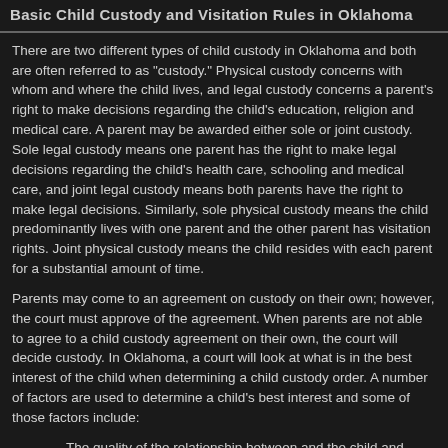Basic Child Custody and Visitation Rules in Oklahoma
There are two different types of child custody in Oklahoma and both are often referred to as "custody." Physical custody concerns with whom and where the child lives, and legal custody concerns a parent's right to make decisions regarding the child's education, religion and medical care. A parent may be awarded either sole or joint custody. Sole legal custody means one parent has the right to make legal decisions regarding the child's health care, schooling and medical care, and joint legal custody means both parents have the right to make legal decisions. Similarly, sole physical custody means the child predominantly lives with one parent and the other parent has visitation rights. Joint physical custody means the child resides with each parent for a substantial amount of time.
Parents may come to an agreement on custody on their own; however, the court must approve of the agreement. When parents are not able to agree to a child custody agreement on their own, the court will decide custody. In Oklahoma, a court will look at what is in the best interest of the child when determining a child custody order. A number of factors are used to determine a child's best interest and some of those factors include:
The quality of the relationship between and the child and parents
The mental and physical health of all parties
Which parent is most likely to provide a safe home environment
The wishes of each parent
Which parents has been involved with the child's schooling, health concerns and care
The stability of the child's home life
The parent's ability to provide